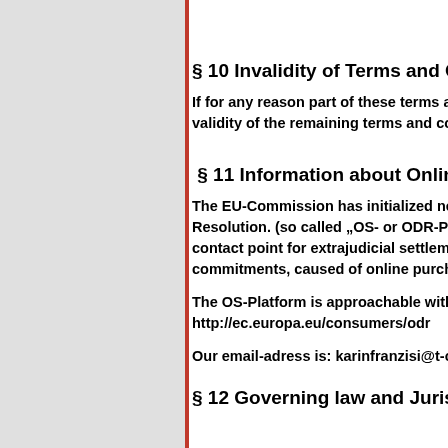§ 10 Invalidity of Terms and Cond...
If for any reason part of these terms and... validity of the remaining terms and cond...
§ 11 Information about Online Dis...
The EU-Commission has initialized new i... Resolution. (so called „OS- or ODR-Platfo... contact point for extrajudicial settlement o... commitments, caused of online purchase...
The OS-Platform is approachable with the... http://ec.europa.eu/consumers/odr
Our email-adress is: karinfranzisi@t-onlin...
§ 12 Governing law and Jurisdict...